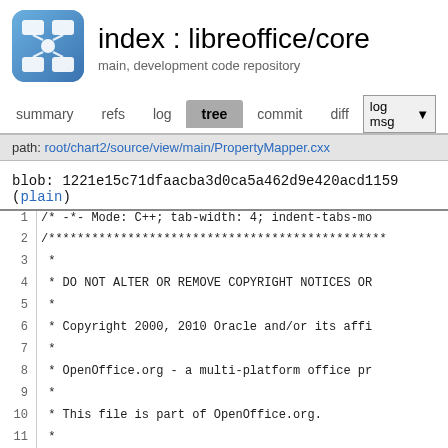[Figure (logo): LibreOffice logo - blue rounded square with white connected node diagram]
index : libreoffice/core
main, development code repository
summary  refs  log  tree  commit  diff  log msg
path: root/chart2/source/view/main/PropertyMapper.cxx
blob: 1221e15c71dfaacba3d0ca5a462d9e420acd1159 (plain)
1  /* -*- Mode: C++; tab-width: 4; indent-tabs-mo
2  /***********************************************
3   *
4   * DO NOT ALTER OR REMOVE COPYRIGHT NOTICES OR
5   *
6   * Copyright 2000, 2010 Oracle and/or its affi
7   *
8   * OpenOffice.org - a multi-platform office pr
9   *
10  * This file is part of OpenOffice.org.
11  *
12  * OpenOffice.org is free software: you can re
13  * it under the terms of the GNU Lesser Genera
14  * only, as published by the Free Software Fou
15  *
16  * OpenOffice.org is distributed in the hope t